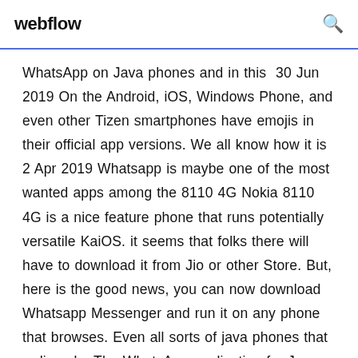webflow
WhatsApp on Java phones and in this  30 Jun 2019 On the Android, iOS, Windows Phone, and even other Tizen smartphones have emojis in their official app versions. We all know how it is 2 Apr 2019 Whatsapp is maybe one of the most wanted apps among the 8110 4G Nokia 8110 4G is a nice feature phone that runs potentially versatile KaiOS. it seems that folks there will have to download it from Jio or other Store. But, here is the good news, you can now download Whatsapp Messenger and run it on any phone that browses. Even all sorts of java phones that ordinaryly  The WhatsApp application for Java devices provides flexibility for all type of phones WhatsApp for Java mobile